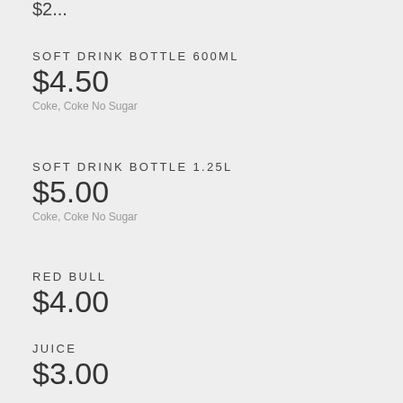$2...
SOFT DRINK BOTTLE 600ML
$4.50
Coke, Coke No Sugar
SOFT DRINK BOTTLE 1.25L
$5.00
Coke, Coke No Sugar
RED BULL
$4.00
JUICE
$3.00